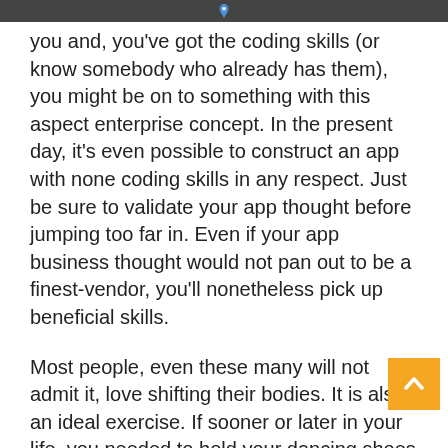[top bar with icon]
you and, you've got the coding skills (or know somebody who already has them), you might be on to something with this aspect enterprise concept. In the present day, it's even possible to construct an app with none coding skills in any respect. Just be sure to validate your app thought before jumping too far in. Even if your app business thought would not pan out to be a finest-vendor, you'll nonetheless pick up beneficial skills.
Most people, even these many will not admit it, love shifting their bodies. It is also an ideal exercise. If sooner or later in your life, you needed to hold your dancing shoes for a extra sensible workplace job, there's nothing stopping you from incomes money with this facet business thought as a passion venture around your day job. Half-time dance instructors get a fraction of the pie that their